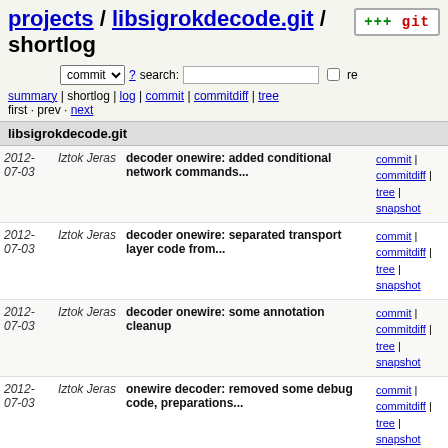projects / libsigrokdecode.git / shortlog
commit ? search: re
summary | shortlog | log | commit | commitdiff | tree
first · prev · next
libsigrokdecode.git
| Date | Author | Message | Links |
| --- | --- | --- | --- |
| 2012-07-03 | Iztok Jeras | decoder onewire: added conditional network commands... | commit | commitdiff | tree | snapshot |
| 2012-07-03 | Iztok Jeras | decoder onewire: separated transport layer code from... | commit | commitdiff | tree | snapshot |
| 2012-07-03 | Iztok Jeras | decoder onewire: some annotation cleanup | commit | commitdiff | tree | snapshot |
| 2012-07-03 | Iztok Jeras | onewire decoder: removed some debug code, preparations... | commit | commitdiff | tree | snapshot |
| 2012-07-03 | Iztok Jeras | onewire decoder: added search support | commit | commitdiff | tree | snapshot |
| 2012-07-03 | Iztok Jeras | onewire decoder: added some byte related code | commit | commitdiff | tree | snapshot |
| 2012-07-03 | Iztok Jeras | some fixex to the link layer, not final | commit | commitdiff | tree |